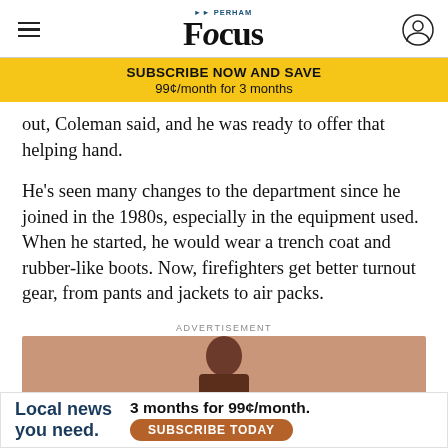Perham Focus
SUBSCRIBE NOW AND SAVE
99¢/month for 3 months
out, Coleman said, and he was ready to offer that helping hand.
He's seen many changes to the department since he joined in the 1980s, especially in the equipment used. When he started, he would wear a trench coat and rubber-like boots. Now, firefighters get better turnout gear, from pants and jackets to air packs.
ADVERTISEMENT
[Figure (photo): Advertisement banner with person and text: Local news you need. 3 months for 99¢/month. SUBSCRIBE TODAY]